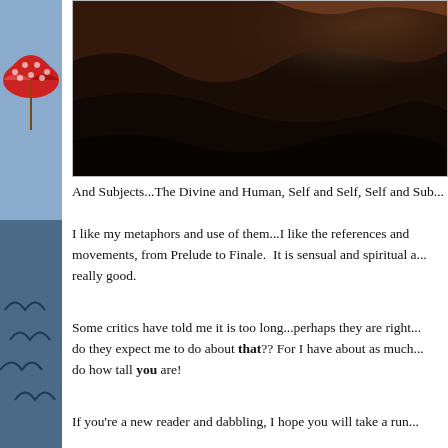[Figure (photo): Dark rocky cliff or cave surface photograph, dark brown and black tones]
And Subjects...The Divine and Human, Self and Self, Self and Sub...
I like my metaphors and use of them...I like the references and movements, from Prelude to Finale.  It is sensual and spiritual a... really good.
Some critics have told me it is too long...perhaps they are right... do they expect me to do about that?? For I have about as much... do how tall you are!
If you're a new reader and dabbling, I hope you will take a run...